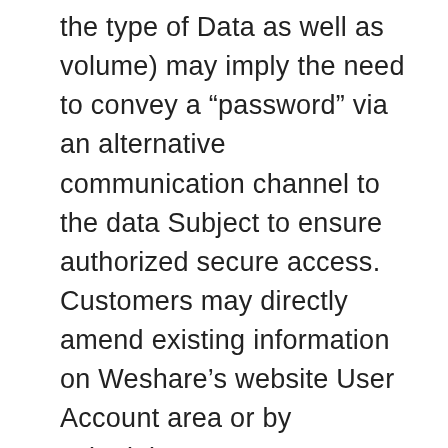the type of Data as well as volume) may imply the need to convey a “password” via an alternative communication channel to the data Subject to ensure authorized secure access. Customers may directly amend existing information on Weshare’s website User Account area or by submitting a request as per herein defined ahead in this document which is the application process for those data Subjects who are not Weshare Customers.